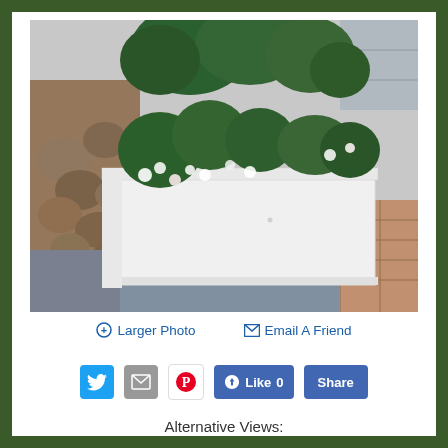[Figure (photo): White rectangular planter box filled with green plants and white flowers, placed on gray slate tiles against a stone wall with brick pavers to the right]
🔍 Larger Photo   ✉ Email A Friend
[Figure (infographic): Social sharing row with Twitter, email, Pinterest icons, and Facebook Like/Share buttons]
Alternative Views: